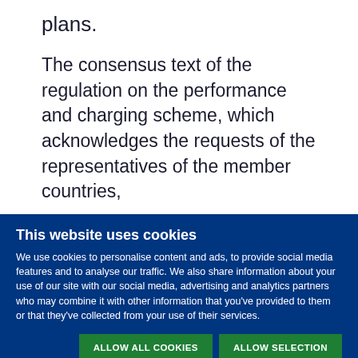plans.
The consensus text of the regulation on the performance and charging scheme, which acknowledges the requests of the representatives of the member countries,
This website uses cookies
We use cookies to personalise content and ads, to provide social media features and to analyse our traffic. We also share information about your use of our site with our social media, advertising and analytics partners who may combine it with other information that you've provided to them or that they've collected from your use of their services.
ALLOW ALL COOKIES | ALLOW SELECTION | USE NECESSARY COOKIES ONLY
Necessary (checked), Preferences, Statistics, Marketing — Show details